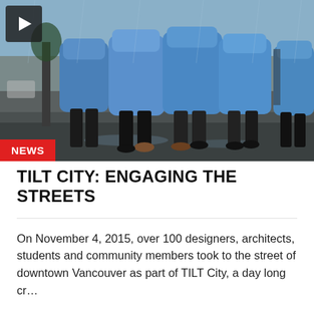[Figure (photo): Photograph of a group of people wearing blue cloaks/capes standing on a rainy downtown street. A play button icon is overlaid in the top-left corner. A red 'NEWS' badge is overlaid at the bottom-left.]
TILT CITY: ENGAGING THE STREETS
On November 4, 2015, over 100 designers, architects, students and community members took to the street of downtown Vancouver as part of TILT City, a day long cr...